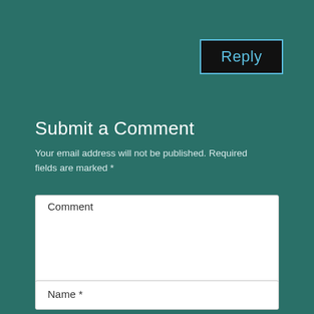Reply
Submit a Comment
Your email address will not be published. Required fields are marked *
Comment
Name *